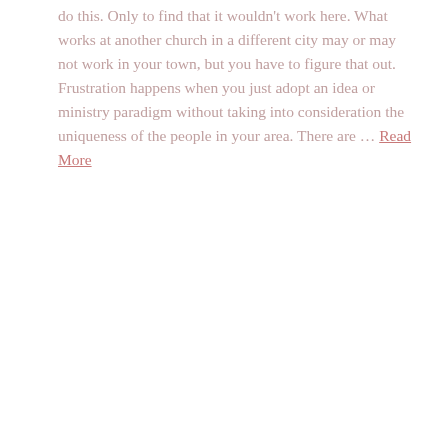do this. Only to find that it wouldn't work here. What works at another church in a different city may or may not work in your town, but you have to figure that out. Frustration happens when you just adopt an idea or ministry paradigm without taking into consideration the uniqueness of the people in your area. There are … Read More